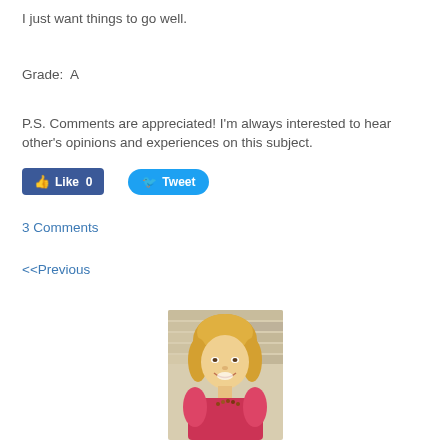I just want things to go well.
Grade:  A
P.S. Comments are appreciated! I'm always interested to hear other's opinions and experiences on this subject.
[Figure (screenshot): Facebook Like button showing 0 likes and a Twitter Tweet button]
3 Comments
<<Previous
[Figure (photo): Photo of a smiling blonde woman in a pink top against a stone wall background]